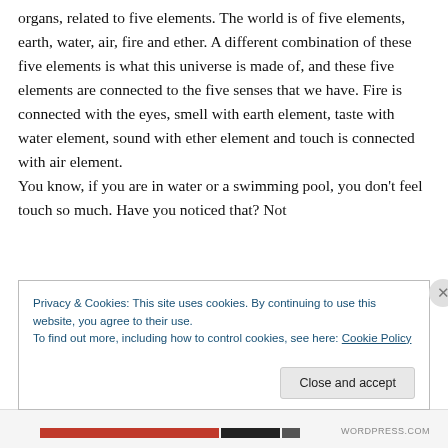organs, related to five elements. The world is of five elements, earth, water, air, fire and ether. A different combination of these five elements is what this universe is made of, and these five elements are connected to the five senses that we have. Fire is connected with the eyes, smell with earth element, taste with water element, sound with ether element and touch is connected with air element.
You know, if you are in water or a swimming pool, you don't feel touch so much. Have you noticed that? Not
Privacy & Cookies: This site uses cookies. By continuing to use this website, you agree to their use.
To find out more, including how to control cookies, see here: Cookie Policy